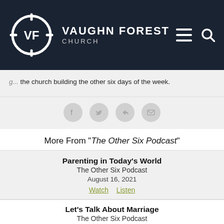VAUGHN FOREST CHURCH
the church building the other six days of the week.
[Figure (infographic): Social share icons: Facebook, Twitter, Share, Email]
More From "The Other Six Podcast"
Parenting in Today's World
The Other Six Podcast
August 16, 2021
Watch  Listen
Let's Talk About Marriage
The Other Six Podcast
August 23, 2021